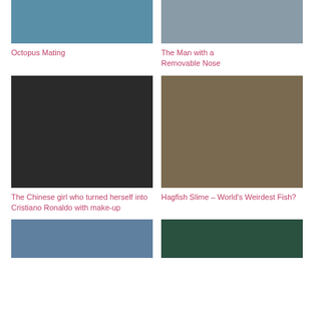[Figure (photo): Octopus mating photo - blue/teal water background]
Octopus Mating
[Figure (photo): Hands holding a removable prosthetic nose]
The Man with a Removable Nose
[Figure (photo): Portrait of a young man resembling Cristiano Ronaldo with makeup]
The Chinese girl who turned herself into Cristiano Ronaldo with make-up
[Figure (photo): Hagfish producing slime - close up of fish head with slime strands]
Hagfish Slime – World's Weirdest Fish?
[Figure (photo): Colorful graffiti artwork]
[Figure (photo): Underwater scene with green tones]